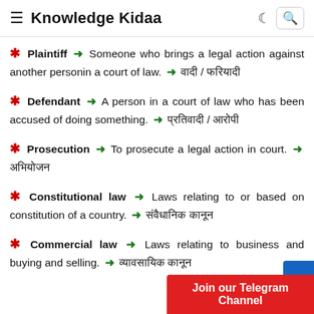Knowledge Kidaa
Plaintiff → Someone who brings a legal action against another personin a court of law. → वादी / फरियादी
Defendant → A person in a court of law who has been accused of doing something. → प्रतिवादी / आरोपी
Prosecution → To prosecute a legal action in court. → अभियोजन
Constitutional law → Laws relating to or based on constitution of a country. → संवैधानिक कानून
Commercial law → Laws relating to business and buying and selling. → व्यावसायिक कानून